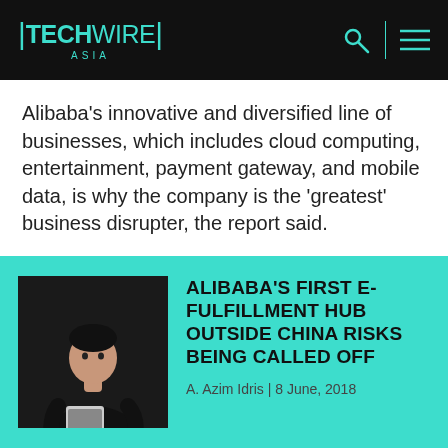TECHWIRE ASIA
Alibaba's innovative and diversified line of businesses, which includes cloud computing, entertainment, payment gateway, and mobile data, is why the company is the 'greatest' business disrupter, the report said.
[Figure (photo): Photo of a man in black clothing holding a tablet device against a dark background]
ALIBABA'S FIRST E-FULFILLMENT HUB OUTSIDE CHINA RISKS BEING CALLED OFF
A. Azim Idris | 8 June, 2018